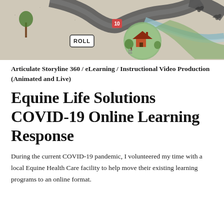[Figure (illustration): A decorative board game illustration with a winding path, a house in a green circle, and a 'ROLL' label. Background is sandy/beige textured. Illustrated in an animated style.]
Articulate Storyline 360 / eLearning / Instructional Video Production (Animated and Live)
Equine Life Solutions COVID-19 Online Learning Response
During the current COVID-19 pandemic, I volunteered my time with a local Equine Health Care facility to help move their existing learning programs to an online format.